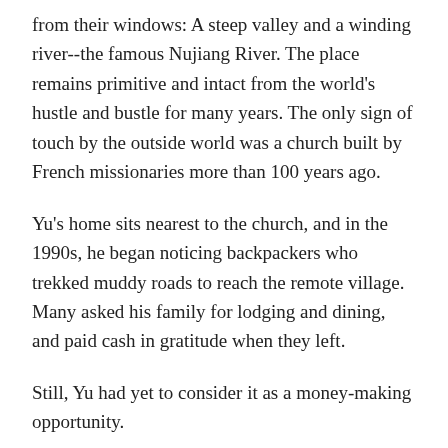from their windows: A steep valley and a winding river--the famous Nujiang River. The place remains primitive and intact from the world's hustle and bustle for many years. The only sign of touch by the outside world was a church built by French missionaries more than 100 years ago.
Yu's home sits nearest to the church, and in the 1990s, he began noticing backpackers who trekked muddy roads to reach the remote village. Many asked his family for lodging and dining, and paid cash in gratitude when they left.
Still, Yu had yet to consider it as a money-making opportunity.
"We were just curious and wondered why they had nothing to do but backpacking in such a remote village," he said.
Yu dropped out of high school in 1996 and went to Shanghai as an ethnic singer. That was the first time he went outside of